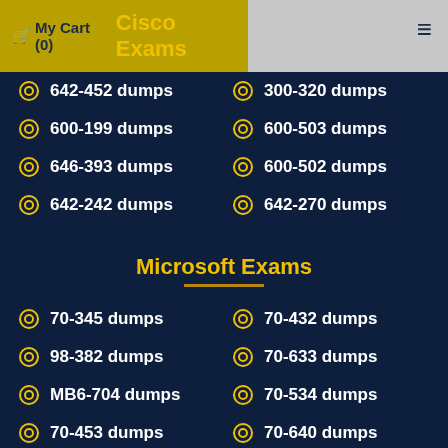🛒 My Cart (0) Cisco Exams
642-452 dumps
300-320 dumps
600-199 dumps
600-503 dumps
646-393 dumps
600-502 dumps
642-242 dumps
642-270 dumps
Microsoft Exams
70-345 dumps
70-432 dumps
98-382 dumps
70-633 dumps
MB6-704 dumps
70-534 dumps
70-453 dumps
70-640 dumps